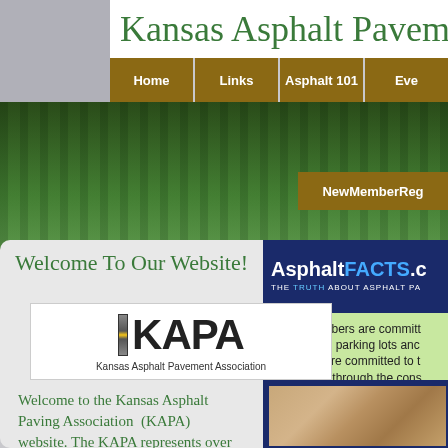Kansas Asphalt Paveme
Home
Links
Asphalt 101
Eve
[Figure (photo): Hero banner showing green tree landscape background]
NewMemberReg
Welcome To Our Website!
[Figure (logo): KAPA logo - Kansas Asphalt Pavement Association with yellow stripe bar icon]
Welcome to the Kansas Asphalt Paving Association (KAPA) website. The KAPA represents over 50 Hot-Mix Asphalt (HMA) Producers and Suppliers, Associate Members, and Consulting Engineers who are dedicated to providing the
[Figure (screenshot): AsphaltFACTS.c banner with subtitle THE TRUTH ABOUT ASPHALT PA]
KAPA members are committ local roads, parking lots anc members are committed to t economies through the cons families through the employ
[Figure (photo): Landscape photo showing brown terrain/road]